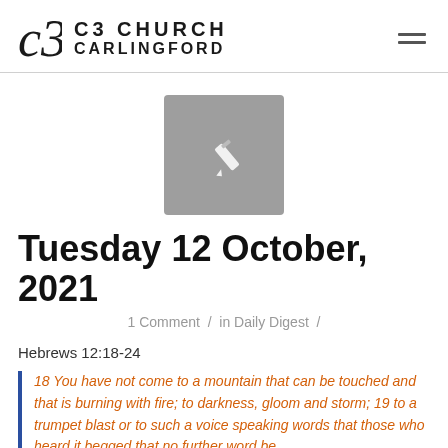C3 CHURCH CARLINGFORD
[Figure (illustration): Gray placeholder box with white pencil icon in the center]
Tuesday 12 October, 2021
1 Comment / in Daily Digest /
Hebrews 12:18-24
18 You have not come to a mountain that can be touched and that is burning with fire; to darkness, gloom and storm; 19 to a trumpet blast or to such a voice speaking words that those who heard it begged that no further word be